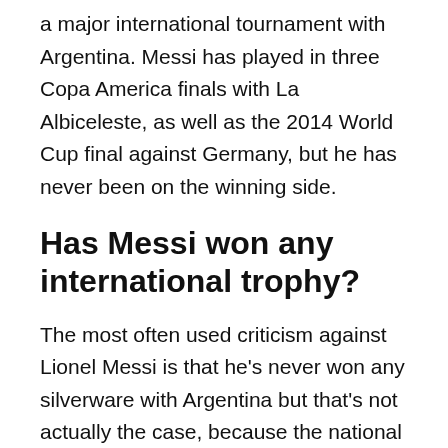a major international tournament with Argentina. Messi has played in three Copa America finals with La Albiceleste, as well as the 2014 World Cup final against Germany, but he has never been on the winning side.
Has Messi won any international trophy?
The most often used criticism against Lionel Messi is that he's never won any silverware with Argentina but that's not actually the case, because the national team won the Copa San Juan on Saturday.
Who is Argentina all time